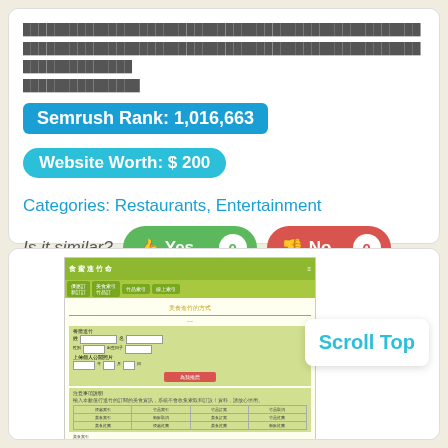███████████████████████████████████████████████████████████████████████████████████████████████████████████████████
Semrush Rank: 1,016,663
Website Worth: $ 200
Categories: Restaurants, Entertainment
Is it similar? Yes 0  No 0
[Figure (screenshot): Screenshot of a Chinese restaurant/entertainment website with green themed navigation and a form with table data. Siteprice.org watermark visible.]